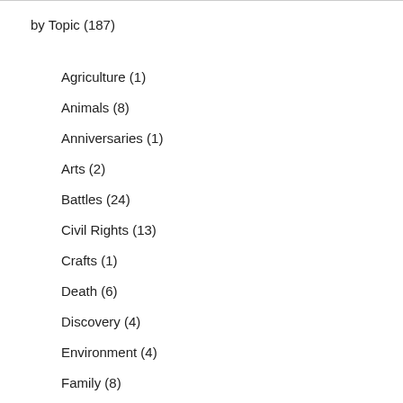by Topic (187)
Agriculture (1)
Animals (8)
Anniversaries (1)
Arts (2)
Battles (24)
Civil Rights (13)
Crafts (1)
Death (6)
Discovery (4)
Environment (4)
Family (8)